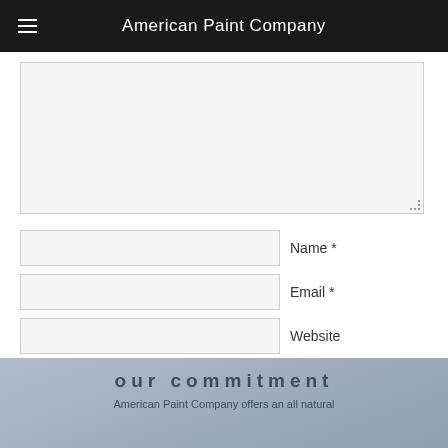American Paint Company
[Figure (screenshot): Comment form with textarea, name, email, website fields and Post Comment button]
our commitment
American Paint Company offers an all natural